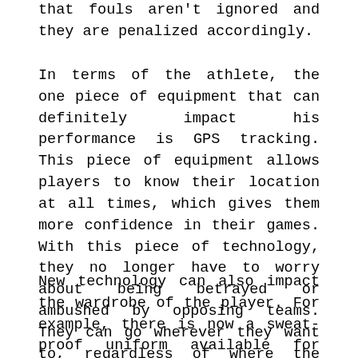that fouls aren't ignored and they are penalized accordingly.
In terms of the athlete, the one piece of equipment that can definitely impact his performance is GPS tracking. This piece of equipment allows players to know their location at all times, which gives them more confidence in their games. With this piece of technology, they no longer have to worry about being betrayed or ambushed by opposing teams. They can go wherever they want to, regardless of where the nearest referee is, without worrying that someone is out to get them. This helps the athlete, team coaches.
New technology can also impact the wardrobe of the player. For example, there is now a sweat-proof uniform available for football players. The material they are made out of has the effect of making